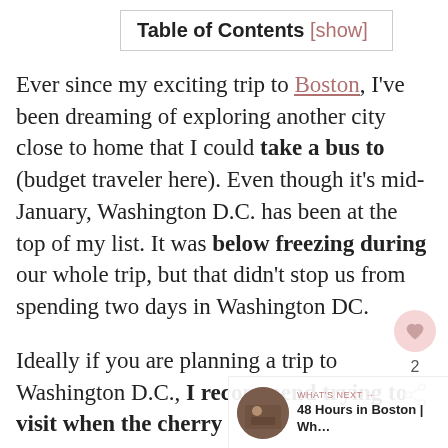| Table of Contents [show] |
| --- |
Ever since my exciting trip to Boston, I've been dreaming of exploring another city close to home that I could take a bus to (budget traveler here). Even though it's mid-January, Washington D.C. has been at the top of my list. It was below freezing during our whole trip, but that didn't stop us from spending two days in Washington DC.
Ideally if you are planning a trip to Washington D.C., I recommend trying to visit when the cherry